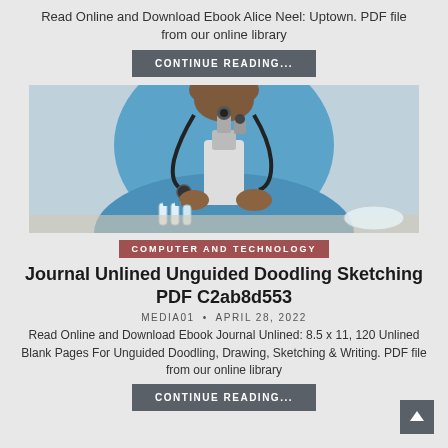Read Online and Download Ebook Alice Neel: Uptown. PDF file from our online library
CONTINUE READING...
[Figure (photo): A healthcare professional in blue scrubs with a stethoscope using a microscope, with small vials in the foreground]
COMPUTER AND TECHNOLOGY
Journal Unlined Unguided Doodling Sketching PDF C2ab8d553
MEDIA01  •  APRIL 28, 2022
Read Online and Download Ebook Journal Unlined: 8.5 x 11, 120 Unlined Blank Pages For Unguided Doodling, Drawing, Sketching & Writing. PDF file from our online library
CONTINUE READING...